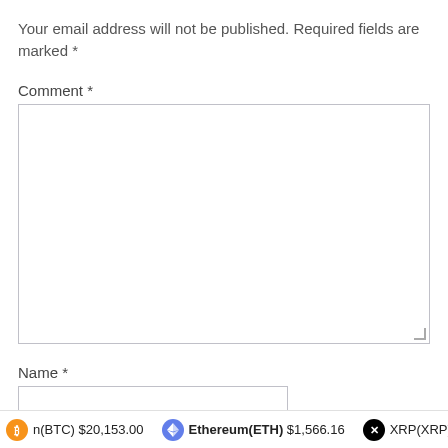Your email address will not be published. Required fields are marked *
Comment *
[Figure (other): Comment text area input box (empty form field)]
Name *
[Figure (other): Name text input box (empty form field)]
n(BTC) $20,153.00   Ethereum(ETH) $1,566.16   XRP(XRP) $